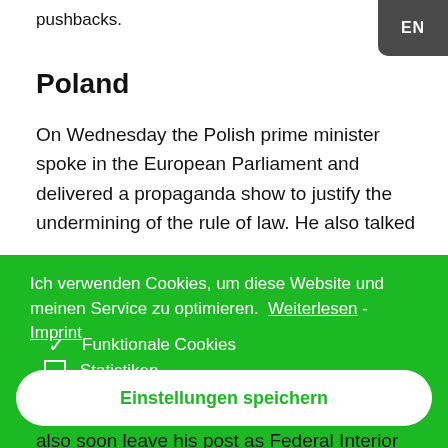pushbacks.
Poland
On Wednesday the Polish prime minister spoke in the European Parliament and delivered a propaganda show to justify the undermining of the rule of law. He also talked
Ich verwenden Cookies, um diese Website und meinen Service zu optimieren. Weiterlesen - Imprint
✓ Funktionale Cookies
□ Statistiken
□ Marketing
Einstellungen speichern
also soon leave his post as Federal Interior Minister. The